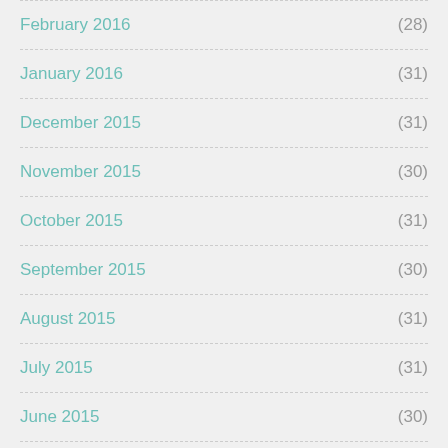February 2016 (28)
January 2016 (31)
December 2015 (31)
November 2015 (30)
October 2015 (31)
September 2015 (30)
August 2015 (31)
July 2015 (31)
June 2015 (30)
May 2015 (31)